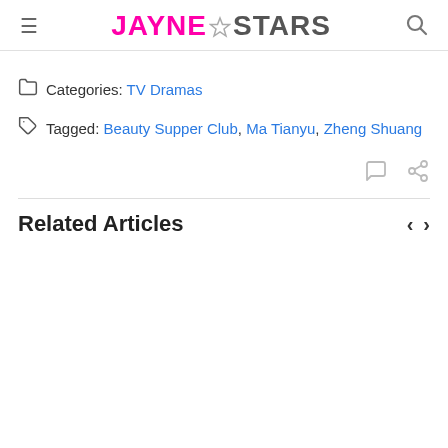JAYNE★STARS
Categories: TV Dramas
Tagged: Beauty Supper Club, Ma Tianyu, Zheng Shuang
Related Articles